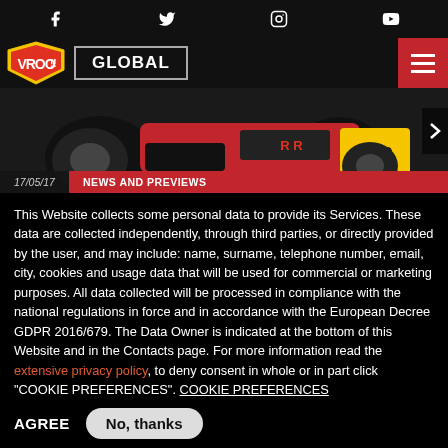Social media icons: Facebook, Twitter, Instagram, YouTube
VROO!! GLOBAL — navigation header with hamburger menu
[Figure (photo): Racing kart number 110 in red/black livery, overlaid with date 17/05/17 and category NEWS AND PREVIEWS]
This Website collects some personal data to provide its Services. These data are collected independently, through third parties, or directly provided by the user, and may include: name, surname, telephone number, email, city, cookies and usage data that will be used for commercial or marketing purposes. All data collected will be processed in compliance with the national regulations in force and in accordance with the European Decree GDPR 2016/679. The Data Owner is indicated at the bottom of this Website and in the Contacts page. For more information read the extensive privacy policy, to deny consent in whole or in part click "COOKIE PREFERENCES". COOKIE PREFERENCES
AGREE
No, thanks
Articles linked to Section: Races
[Figure (photo): HAASE advertisement banner: 'Be different, race different!']